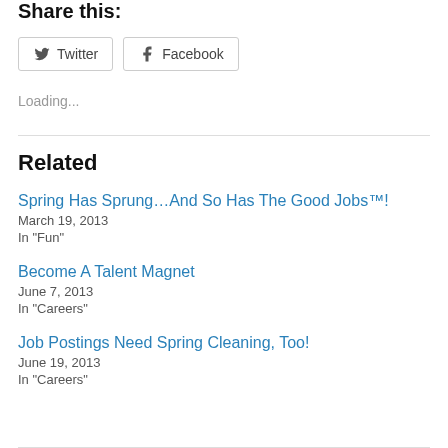Share this:
Twitter   Facebook
Loading...
Related
Spring Has Sprung…And So Has The Good Jobs™!
March 19, 2013
In "Fun"
Become A Talent Magnet
June 7, 2013
In "Careers"
Job Postings Need Spring Cleaning, Too!
June 19, 2013
In "Careers"